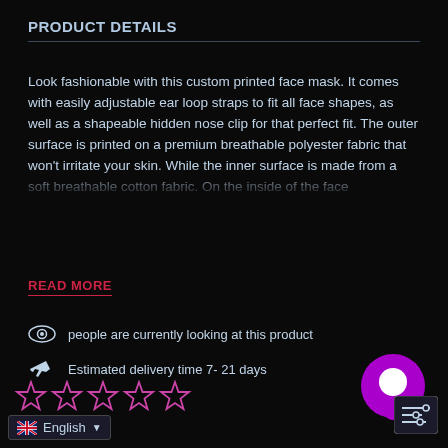PRODUCT DETAILS
Look fashionable with this custom printed face mask. It comes with easily adjustable ear loop straps to fit all face shapes, as well as a shapeable hidden nose clip for that perfect fit. The outer surface is printed on a premium breathable polyester fabric that won't irritate your skin. While the inner surface is made from a soft breathable cotton fabric. On the inside of the face
READ MORE
people are currently looking at this product
Estimated delivery time 7- 21 days
English